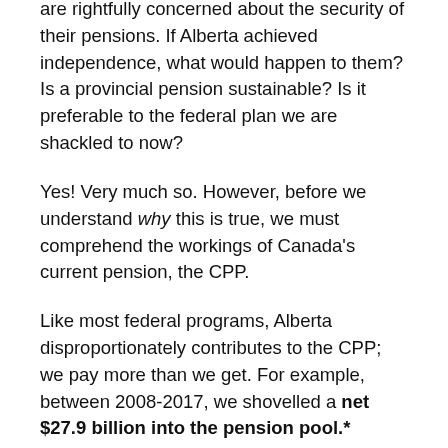are rightfully concerned about the security of their pensions. If Alberta achieved independence, what would happen to them? Is a provincial pension sustainable? Is it preferable to the federal plan we are shackled to now?
Yes! Very much so. However, before we understand why this is true, we must comprehend the workings of Canada's current pension, the CPP.
Like most federal programs, Alberta disproportionately contributes to the CPP; we pay more than we get. For example, between 2008-2017, we shovelled a net $27.9 billion into the pension pool.* Granted, this is not necessarily a failure of the program